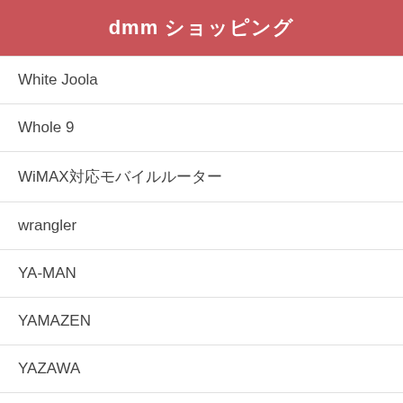dmm ショッピング
White Joola
Whole 9
WiMAX対応モバイルルーター
wrangler
YA-MAN
YAMAZEN
YAZAWA
YLANG YLANG
Yves Saint Laurent